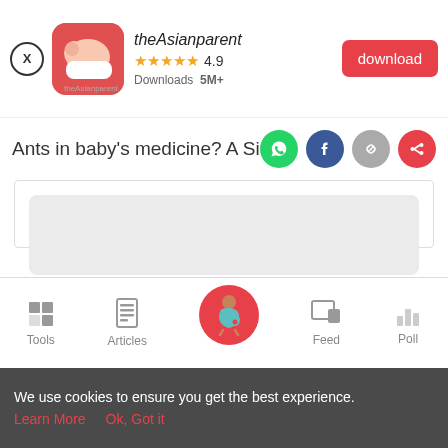[Figure (screenshot): theAsianparent app banner with close button, app icon, name, 4.9 star rating, 5M+ downloads, and red download button]
Ants in baby's medicine? A Singapore
[Figure (infographic): Social share icons: WhatsApp (green), Facebook (blue), link (grey), share (red)]
[Figure (illustration): Content area with three grey placeholder loading blocks]
[Figure (infographic): Bottom navigation bar with Tools, Articles, center pregnant woman icon (pink circle), Feed, and Poll icons]
We use cookies to ensure you get the best experience.
Learn More   Ok, Got it